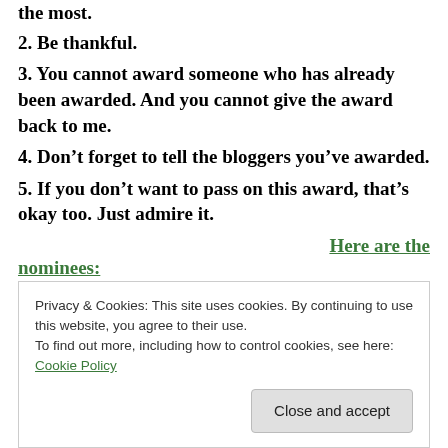the most.
2. Be thankful.
3. You cannot award someone who has already been awarded. And you cannot give the award back to me.
4. Don’t forget to tell the bloggers you’ve awarded.
5. If you don’t want to pass on this award, that’s okay too. Just admire it.
Here are the nominees:
I am acknowledging these blogging friends for their
Privacy & Cookies: This site uses cookies. By continuing to use this website, you agree to their use. To find out more, including how to control cookies, see here: Cookie Policy